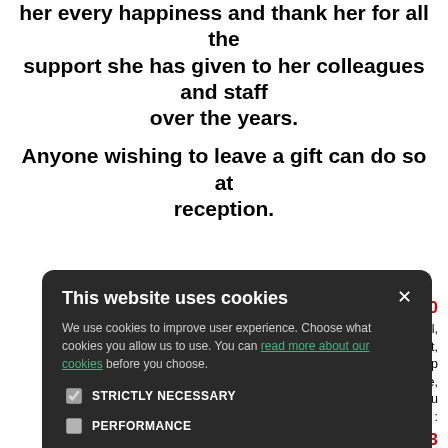her every happiness and thank her for all the support she has given to her colleagues and staff over the years.
Anyone wishing to leave a gift can do so at reception.
[Figure (screenshot): Cookie consent modal overlay with dark background showing title 'This website uses cookies', body text, checkboxes for STRICTLY NECESSARY, PERFORMANCE, TARGETING, FUNCTIONALITY, and two buttons ACCEPT ALL and DECLINE ALL.]
020
area Hospital, r injuries unit, This is to help opriate care, ve time! If you e call :
3 1 123
pp.
attack, loss of ere bleeding dial 999 IMMEDIATELY.